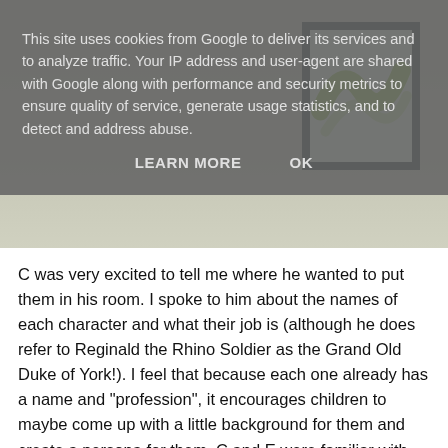This site uses cookies from Google to deliver its services and to analyze traffic. Your IP address and user-agent are shared with Google along with performance and security metrics to ensure quality of service, generate usage statistics, and to detect and address abuse.
LEARN MORE   OK
[Figure (photo): Photo of a room interior with a framed artwork on the wall. The frame has a dark border and contains a green abstract design on a light background. The wall and floor are neutral beige/grey tones.]
C was very excited to tell me where he wanted to put them in his room. I spoke to him about the names of each character and what their job is (although he does refer to Reginald the Rhino Soldier as the Grand Old Duke of York!). I feel that because each one already has a name and "profession", it encourages children to maybe come up with a little background for them and create a persona for them. C and E were familiar with some of the animals' occupations such a chef and policeman but they did ask a lot of questions about